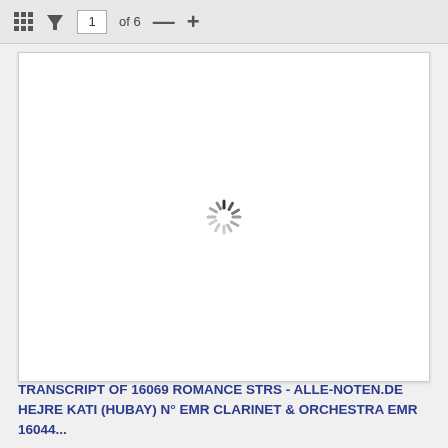1 of 6
[Figure (screenshot): A loading spinner (spinning wheel indicator) centered in a white page preview area with a light border and shadow]
TRANSCRIPT OF 16069 ROMANCE STRS - ALLE-NOTEN.DE HEJRE KATI (HUBAY) N° EMR CLARINET & ORCHESTRA EMR 16044...